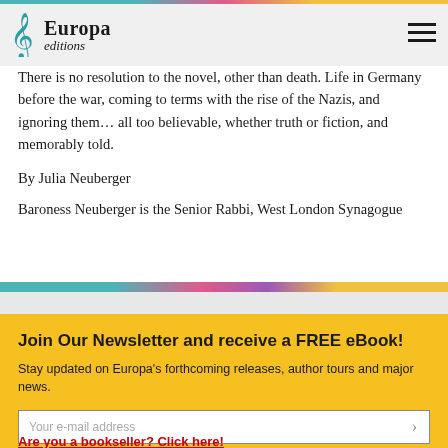Europa editions
There is no resolution to the novel, other than death. Life in Germany before the war, coming to terms with the rise of the Nazis, and ignoring them… all too believable, whether truth or fiction, and memorably told.
By Julia Neuberger
Baroness Neuberger is the Senior Rabbi, West London Synagogue
Join Our Newsletter and receive a FREE eBook!
Stay updated on Europa's forthcoming releases, author tours and major news.
Your e-mail address
Are you a bookseller? Click here!